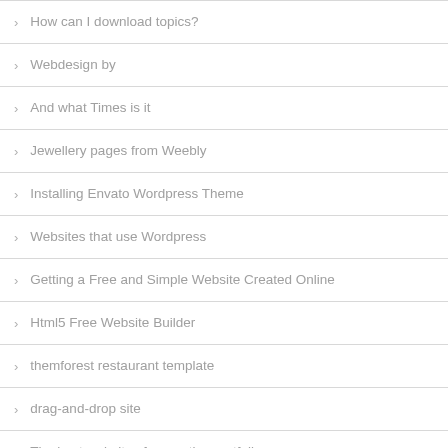How can I download topics?
Webdesign by
And what Times is it
Jewellery pages from Weebly
Installing Envato Wordpress Theme
Websites that use Wordpress
Getting a Free and Simple Website Created Online
Html5 Free Website Builder
themforest restaurant template
drag-and-drop site
The best websites for creative portfolios
Popular 10 Church Websites
Various types of wedding themes
Contact Cold E-mail
Worldpress Music Store